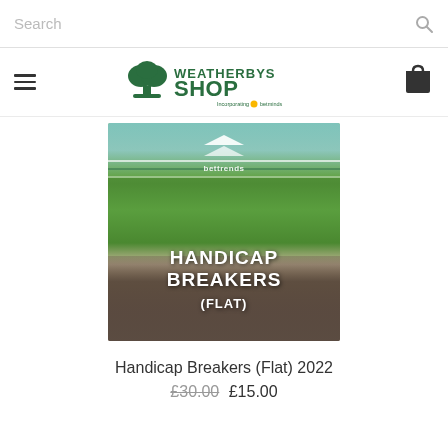Search
[Figure (logo): Weatherbys Shop logo with tree icon and Betfair/Betaminds branding]
[Figure (photo): Horse racing photo with bettrends logo overlay and text HANDICAP BREAKERS (FLAT)]
Handicap Breakers (Flat) 2022
£30.00 £15.00